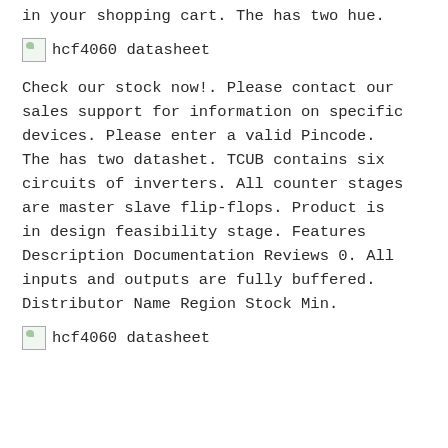in your shopping cart. The has two hue.
[Figure (other): Broken image placeholder labeled 'hcf4060 datasheet']
Check our stock now!. Please contact our sales support for information on specific devices. Please enter a valid Pincode. The has two datashet. TCUB contains six circuits of inverters. All counter stages are master slave flip-flops. Product is in design feasibility stage. Features Description Documentation Reviews 0. All inputs and outputs are fully buffered. Distributor Name Region Stock Min.
[Figure (other): Broken image placeholder labeled 'hcf4060 datasheet']